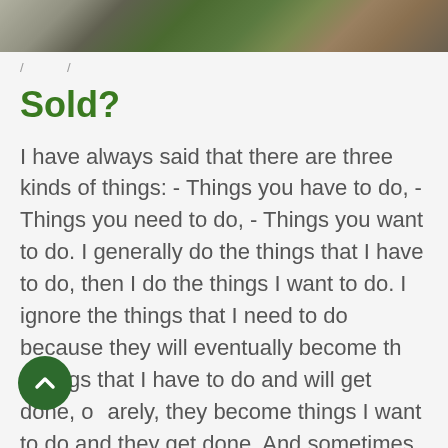[Figure (photo): Partial photo showing grass lawn and garden/stone area at the top of the page]
/ /
Sold?
I have always said that there are three kinds of things: - Things you have to do, - Things you need to do, - Things you want to do. I generally do the things that I have to do, then I do the things I want to do. I ignore the things that I need to do because they will eventually become things that I have to do and will get done, or rarely, they become things I want to do and they get done. And sometimes they